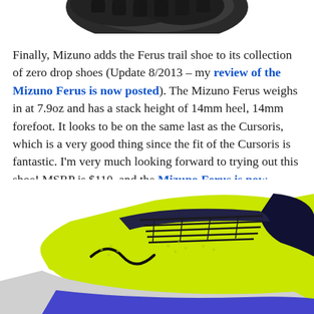[Figure (photo): Bottom view of a dark/black running shoe sole, cropped at top of page]
Finally, Mizuno adds the Ferus trail shoe to its collection of zero drop shoes (Update 8/2013 – my review of the Mizuno Ferus is now posted). The Mizuno Ferus weighs in at 7.9oz and has a stack height of 14mm heel, 14mm forefoot. It looks to be on the same last as the Cursoris, which is a very good thing since the fit of the Cursoris is fantastic. I'm very much looking forward to trying out this shoe! MSRP is $110, and the Mizuno Ferus is now available at Running Warehouse.
[Figure (photo): Yellow-green and black Mizuno Ferus trail running shoe, side/front view on white background]